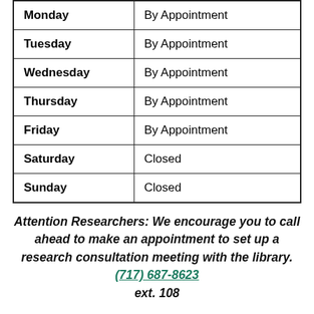| Monday | By Appointment |
| Tuesday | By Appointment |
| Wednesday | By Appointment |
| Thursday | By Appointment |
| Friday | By Appointment |
| Saturday | Closed |
| Sunday | Closed |
Attention Researchers: We encourage you to call ahead to make an appointment to set up a research consultation meeting with the library. (717) 687-8623 ext. 108